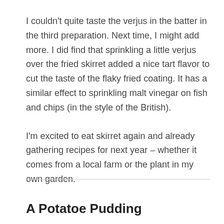I couldn't quite taste the verjus in the batter in the third preparation. Next time, I might add more. I did find that sprinkling a little verjus over the fried skirret added a nice tart flavor to cut the taste of the flaky fried coating. It has a similar effect to sprinkling malt vinegar on fish and chips (in the style of the British).
I'm excited to eat skirret again and already gathering recipes for next year – whether it comes from a local farm or the plant in my own garden.
A Potatoe Pudding